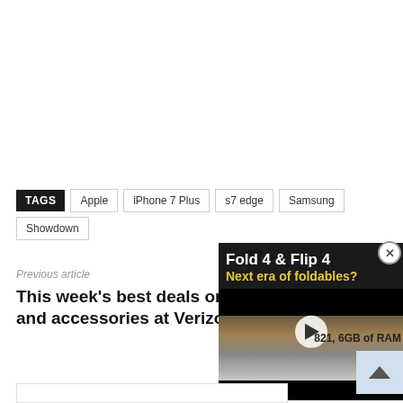TAGS  Apple  iPhone 7 Plus  s7 edge  Samsung  Showdown
Previous article
This week's best deals on phones and accessories at Verizon
[Figure (screenshot): Video overlay showing 'Fold 4 & Flip 4 Next era of foldables?' with a play button and phone images]
821, 6GB of RAM